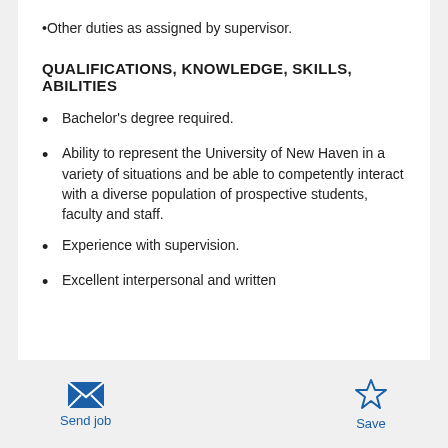Other duties as assigned by supervisor.
QUALIFICATIONS, KNOWLEDGE, SKILLS, ABILITIES
Bachelor's degree required.
Ability to represent the University of New Haven in a variety of situations and be able to competently interact with a diverse population of prospective students, faculty and staff.
Experience with supervision.
Excellent interpersonal and written
Send job  Save